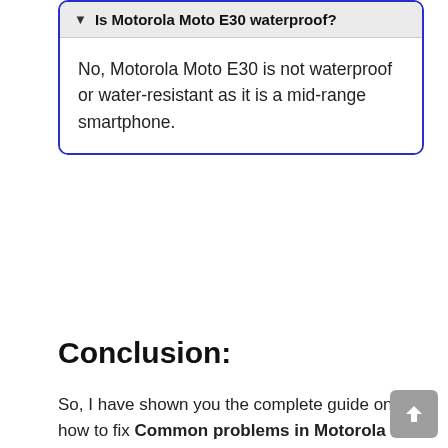Is Motorola Moto E30 waterproof?
No, Motorola Moto E30 is not waterproof or water-resistant as it is a mid-range smartphone.
Conclusion:
So, I have shown you the complete guide on how to fix Common problems in Motorola Moto E30.
If you are planning to buy Motorola Moto E30, don't be disheartened! The Motorola Moto E30 is still a good phone to buy, and the problems we've discussed are very common and are easily fixed.
Tell me how was your experience with Motorola